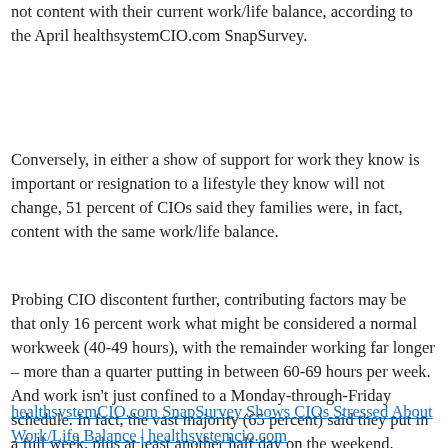not content with their current work/life balance, according to the April healthsystemCIO.com SnapSurvey.
Conversely, in either a show of support for work they know is important or resignation to a lifestyle they know will not change, 51 percent of CIOs said they families were, in fact, content with the same work/life balance.
Probing CIO discontent further, contributing factors may be that only 16 percent work what might be considered a normal workweek (40-49 hours), with the remainder working far longer – more than a quarter putting in between 60-69 hours per week. And work isn't just confined to a Monday-through-Friday schedule. In fact, the vast majority (65 percent) said they put in a full week, plus at least another half day on the weekend.
healthsystemCIO.com SnapSurvey Shows CIOs Stressed About Work/Life Balance | healthsystemcio.com